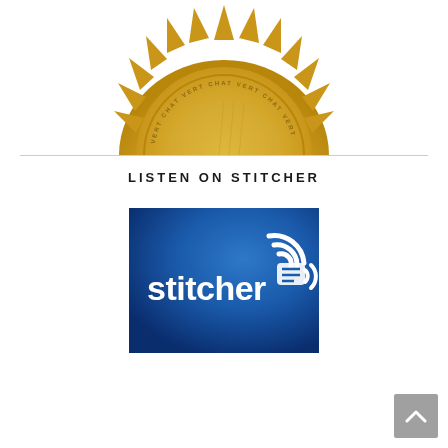[Figure (photo): Gold sunburst/gear-shaped medal or badge with text 'VERT CHAT' repeating around the edge, partially cropped at the top of the page]
LISTEN ON STITCHER
[Figure (logo): Stitcher podcast app logo on a blue gradient background with 'stitcher' text and a signal/headphone icon in white]